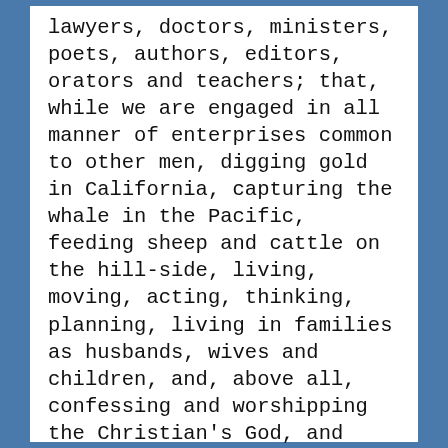lawyers, doctors, ministers, poets, authors, editors, orators and teachers; that, while we are engaged in all manner of enterprises common to other men, digging gold in California, capturing the whale in the Pacific, feeding sheep and cattle on the hill-side, living, moving, acting, thinking, planning, living in families as husbands, wives and children, and, above all, confessing and worshipping the Christian's God, and looking hopefully for life and immortality beyond the grave, we are called upon to prove that we are men! Would you have me argue that man is entitled to liberty? that he is the rightful owner of his own body? You have already declared it. Must I argue the wrongfulness of slavery? Is that a question for Republicans? Is it to be settled by the rules of logic and argumentation, as a